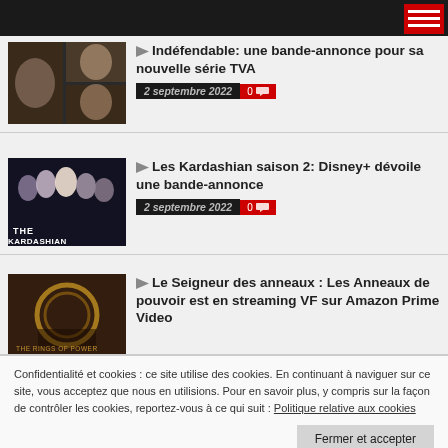Indéfendable: une bande-annonce pour sa nouvelle série TVA
2 septembre 2022  0
Les Kardashian saison 2: Disney+ dévoile une bande-annonce
2 septembre 2022  0
Le Seigneur des anneaux : Les Anneaux de pouvoir est en streaming VF sur Amazon Prime Video
Confidentialité et cookies : ce site utilise des cookies. En continuant à naviguer sur ce site, vous acceptez que nous en utilisions.
Pour en savoir plus, y compris sur la façon de contrôler les cookies, reportez-vous à ce qui suit : Politique relative aux cookies
Fermer et accepter
De l'amour dans la villa: la comédie